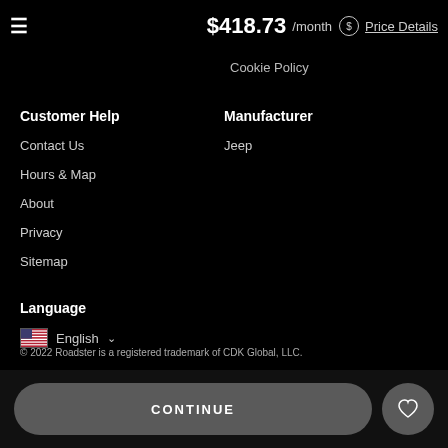☰  $418.73 /month ⓢ Price Details
Cookie Policy
Customer Help
Contact Us
Hours & Map
About
Privacy
Sitemap
Manufacturer
Jeep
Language
🇺🇸  English ∨
© 2022 Roadster is a registered trademark of CDK Global, LLC.
CONTINUE